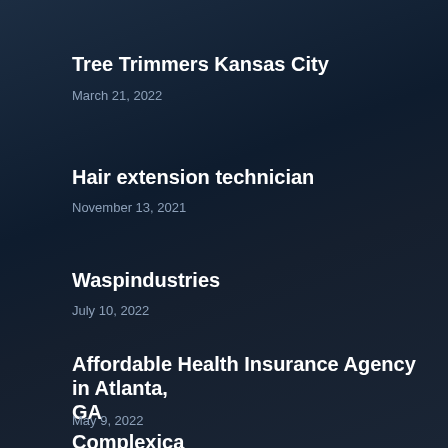Tree Trimmers Kansas City
March 21, 2022
Hair extension technician
November 13, 2021
Waspindustries
July 10, 2022
Affordable Health Insurance Agency in Atlanta, GA
May 9, 2022
Complexica
July 23, 2022